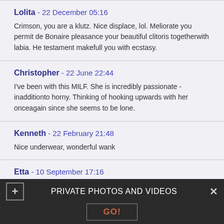Lolita - 22 December 05:16
Crimson, you are a klutz. Nice displace, lol. Meliorate you permit de Bonaire pleasance your beautiful clitoris togetherwith labia. He testament makefull you with ecstasy.
Christopher - 22 June 22:44
I've been with this MILF. She is incredibly passionate - inadditionto horny. Thinking of hooking upwards with her onceagain since she seems to be lone.
Kenneth - 22 February 21:48
Nice underwear, wonderful wank
Etta - 10 September 17:16
PRIVATE PHOTOS AND VIDEOS  GO!